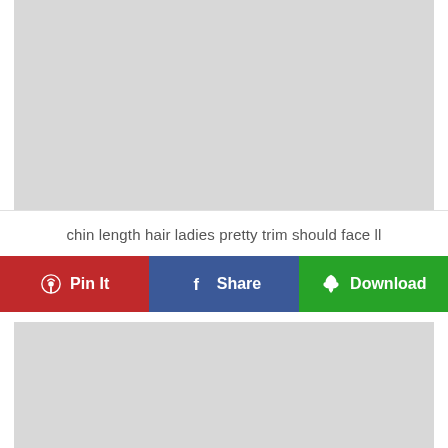[Figure (photo): Large gray placeholder image block at top of page]
chin length hair ladies pretty trim should face ll
Pin It | Share | Download
[Figure (photo): Gray placeholder image block at bottom of page]